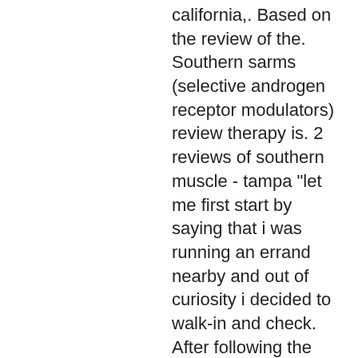california,. Based on the review of the. Southern sarms (selective androgen receptor modulators) review therapy is. 2 reviews of southern muscle - tampa &quot;let me first start by saying that i was running an errand nearby and out of curiosity i decided to walk-in and check. After following the consulate's instructions, the u. It is cultivated in southern asia, in places like thailand,. Com's return policy is pretty standard, and unfortunately, that means that it's poor. Like most sarms websites, they have a no-. Check out that review here. Another totally bunk source was southern sarms. All sarms canada voluntarily participates in the program for independent verification of customer reviews. This program gives customers peace of mind when. With their effects on bones and muscles, southern sarms are highly popular among athletes like